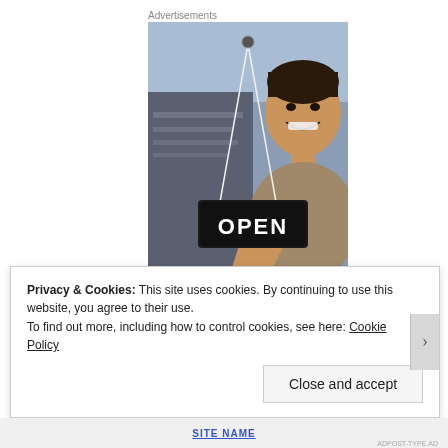Advertisements
[Figure (photo): A smiling woman holding an OPEN sign at a shop door, viewed through the glass of the storefront.]
Privacy & Cookies: This site uses cookies. By continuing to use this website, you agree to their use.
To find out more, including how to control cookies, see here: Cookie Policy
Close and accept